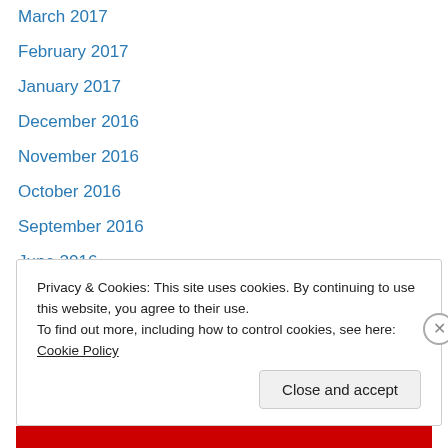March 2017
February 2017
January 2017
December 2016
November 2016
October 2016
September 2016
June 2016
May 2016
April 2016
March 2016
February 2016
January 2016
Privacy & Cookies: This site uses cookies. By continuing to use this website, you agree to their use.
To find out more, including how to control cookies, see here: Cookie Policy
Close and accept